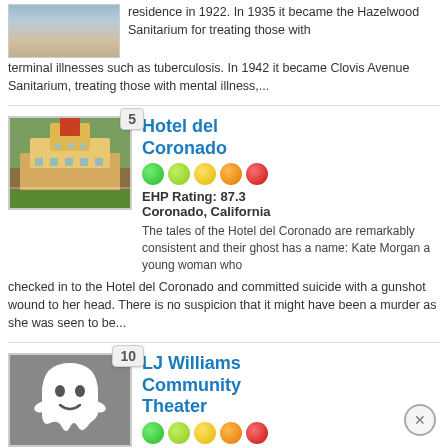[Figure (photo): Partial photo of a building, partially cut off at top]
residence in 1922. In 1935 it became the Hazelwood Sanitarium for treating those with terminal illnesses such as tuberculosis. In 1942 it became Clovis Avenue Sanitarium, treating those with mental illness,...
[Figure (photo): Historical photo of Hotel del Coronado, a large Victorian beach resort building]
Hotel del Coronado
EHP Rating: 87.3
Coronado, California
The tales of the Hotel del Coronado are remarkably consistent and their ghost has a name: Kate Morgan a young woman who checked in to the Hotel del Coronado and committed suicide with a gunshot wound to her head. There is no suspicion that it might have been a murder as she was seen to be...
[Figure (illustration): Ghost icon illustration - white cartoon ghost on grey background]
LJ Williams Community Theater
EHP Rating: 87.2
Visalia, California
This 1930's theatre is usually used for school productions, and is reportedly haunted by actors and theatre patrons who loved the building so much that they refused to